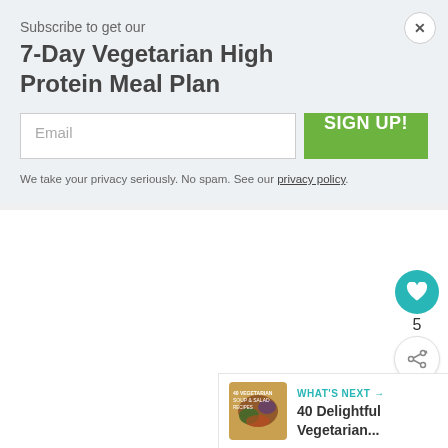Subscribe to get our
7-Day Vegetarian High Protein Meal Plan
Email [input field] SIGN UP! [button]
We take your privacy seriously. No spam. See our privacy policy.
5
WHAT'S NEXT → 40 Delightful Vegetarian...